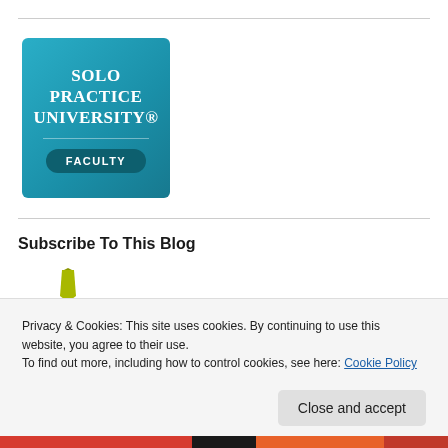[Figure (logo): Solo Practice University Faculty badge — teal/cyan square with white uppercase text reading 'Solo Practice University®' and a dark teal rounded rectangle button labeled 'FACULTY']
Subscribe To This Blog
Privacy & Cookies: This site uses cookies. By continuing to use this website, you agree to their use.
To find out more, including how to control cookies, see here: Cookie Policy
Close and accept